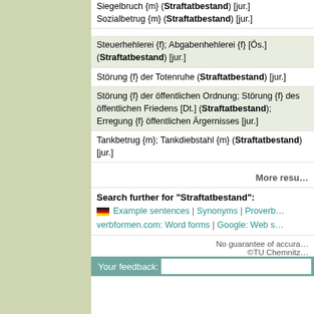Siegelbruch {m} (Straftatbestand) [jur.]
Sozialbetrug {m} (Straftatbestand) [jur.]
Steuerhehlerei {f}; Abgabenhehlerei {f} [Ös.] (Straftatbestand) [jur.]
Störung {f} der Totenruhe (Straftatbestand) [jur.]
Störung {f} der öffentlichen Ordnung; Störung {f} des öffentlichen Friedens [Dt.] (Straftatbestand); Erregung {f} öffentlichen Ärgernisses [jur.]
Tankbetrug {m}; Tankdiebstahl {m} (Straftatbestand) [jur.]
More resu…
Search further for "Straftatbestand":
Example sentences | Synonyms | Proverb… | verbformen.com: Word forms | Google: Web s…
No guarantee of accura… ©TU Chemnitz…
Your feedback: